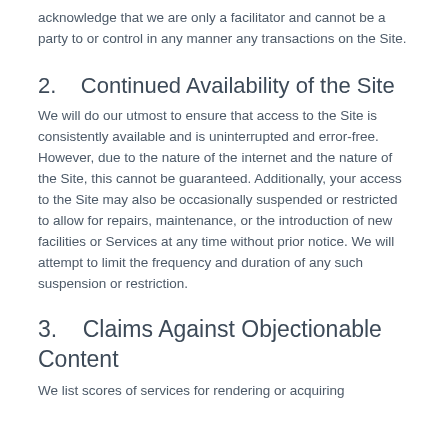acknowledge that we are only a facilitator and cannot be a party to or control in any manner any transactions on the Site.
2.    Continued Availability of the Site
We will do our utmost to ensure that access to the Site is consistently available and is uninterrupted and error-free. However, due to the nature of the internet and the nature of the Site, this cannot be guaranteed. Additionally, your access to the Site may also be occasionally suspended or restricted to allow for repairs, maintenance, or the introduction of new facilities or Services at any time without prior notice. We will attempt to limit the frequency and duration of any such suspension or restriction.
3.    Claims Against Objectionable Content
We list scores of services for rendering or acquiring